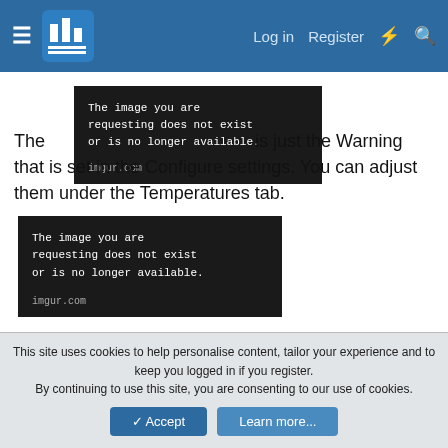Log in  Register
[Figure (screenshot): Imgur placeholder image 1: dark background with text 'The image you are requesting does not exist or is no longer available.' and 'imgur.com']
The [image] is just the Warning that is set in the Configure settings. You can adjust them under the Temperatures tab.
[Figure (screenshot): Imgur placeholder image 2: dark background with text 'The image you are requesting does not exist or is no longer available.' and 'imgur.com']
Martin
This site uses cookies to help personalise content, tailor your experience and to keep you logged in if you register.
By continuing to use this site, you are consenting to our use of cookies.